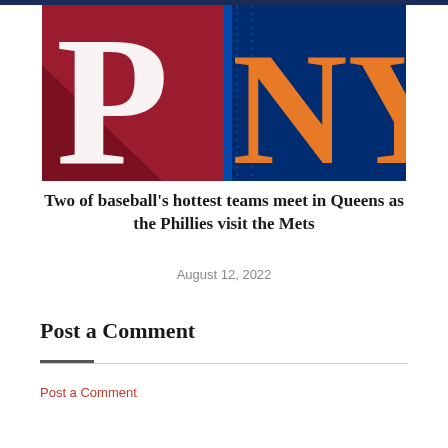[Figure (illustration): Two baseball team logos side by side: Philadelphia Phillies logo (white P on red background) on the left and New York Mets logo (orange NY on dark navy blue background) on the right.]
Two of baseball's hottest teams meet in Queens as the Phillies visit the Mets
August 12, 2022
Post a Comment
Post a Comment